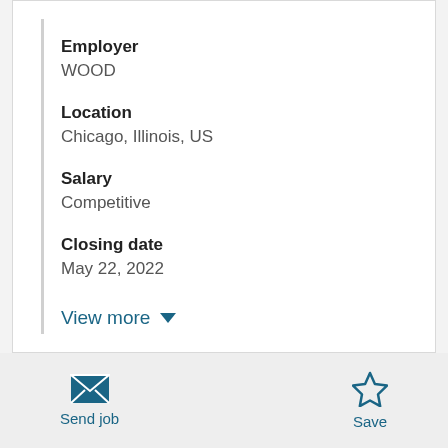Employer
WOOD
Location
Chicago, Illinois, US
Salary
Competitive
Closing date
May 22, 2022
View more
Send job
Save